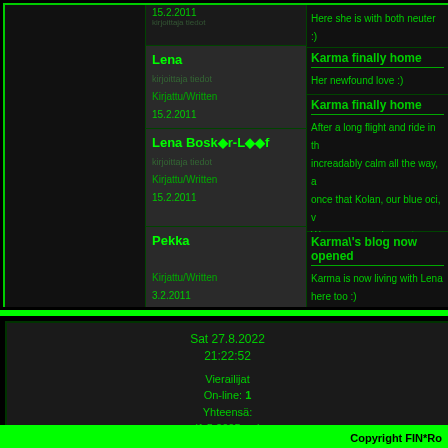15.2.2011
Lena
Kirjattu/Written
15.2.2011
Here newfound love :)
Lena Boskör-Lööf
Kirjattu/Written
15.2.2011
Karma finally home
After a long flight and ride in th increadably calm all the way, a once that Kolan, our blue oci, v We are ever so happy to have
Pekka
Kirjattu/Written
3.2.2011
Karma's blog now opened
Karma is now living with Lena here too :)
Sat 27.8.2022
21:22:52
Vierailijat
On-line: 1
Yhteensä:
(1.5.2005 -->)
Copyright FIN*Ro